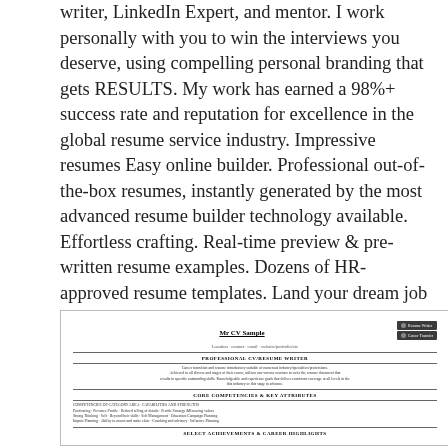writer, LinkedIn Expert, and mentor. I work personally with you to win the interviews you deserve, using compelling personal branding that gets RESULTS. My work has earned a 98%+ success rate and reputation for excellence in the global resume service industry. Impressive resumes Easy online builder. Professional out-of-the-box resumes, instantly generated by the most advanced resume builder technology available. Effortless crafting. Real-time preview & pre-written resume examples. Dozens of HR-approved resume templates. Land your dream job with the perfect resume employers are looking for! Build my. Provides services - Resume Writing, Resume Review, Career Development Coaching, Training, Educational Consulting, Public Speaking See more There are no .
[Figure (screenshot): A screenshot of a resume preview document titled 'Mr CV Sample' with subtitle 'PROFESSIONAL CV/RESUME WRITER' and sections including 'CORE COMPETENCIES & KEY ATTRIBUTES' and 'SELECT ACHIEVEMENTS & CAREER HIGHLIGHTS'. Two buttons labeled 'Resume Writer' and 'Career Transfer' are visible in the top right.]